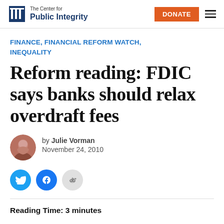The Center for Public Integrity
FINANCE, FINANCIAL REFORM WATCH, INEQUALITY
Reform reading: FDIC says banks should relax overdraft fees
by Julie Vorman
November 24, 2010
Reading Time: 3 minutes